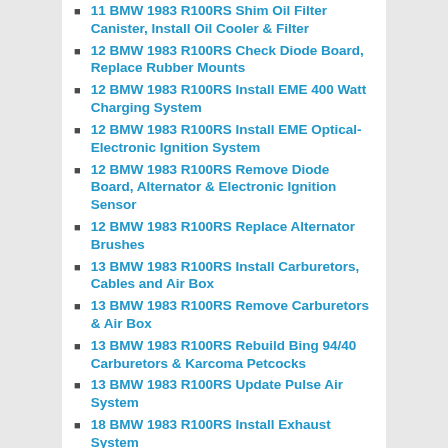11 BMW 1983 R100RS Shim Oil Filter Canister, Install Oil Cooler & Filter
12 BMW 1983 R100RS Check Diode Board, Replace Rubber Mounts
12 BMW 1983 R100RS Install EME 400 Watt Charging System
12 BMW 1983 R100RS Install EME Optical-Electronic Ignition System
12 BMW 1983 R100RS Remove Diode Board, Alternator & Electronic Ignition Sensor
12 BMW 1983 R100RS Replace Alternator Brushes
13 BMW 1983 R100RS Install Carburetors, Cables and Air Box
13 BMW 1983 R100RS Remove Carburetors & Air Box
13 BMW 1983 R100RS Rebuild Bing 94/40 Carburetors & Karcoma Petcocks
13 BMW 1983 R100RS Update Pulse Air System
18 BMW 1983 R100RS Install Exhaust System
18 BMW 1983 R100RS Remove Exhaust